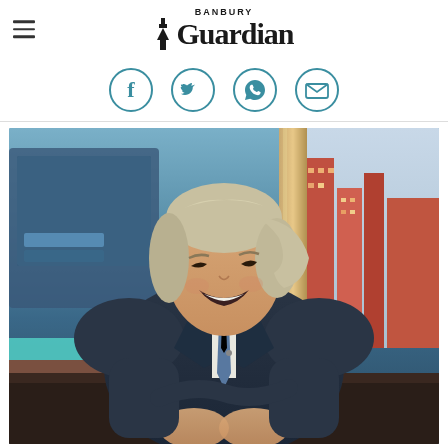Banbury Guardian
[Figure (other): Social media sharing icons: Facebook, Twitter, WhatsApp, Email — displayed as circular teal/blue outlined icons]
[Figure (photo): A man with silver-blonde hair, wearing a dark navy suit and blue tie, smiling and laughing in a TV studio setting. He appears to be a television presenter seated at a desk, with a modern studio backdrop visible behind him including screens and city views.]